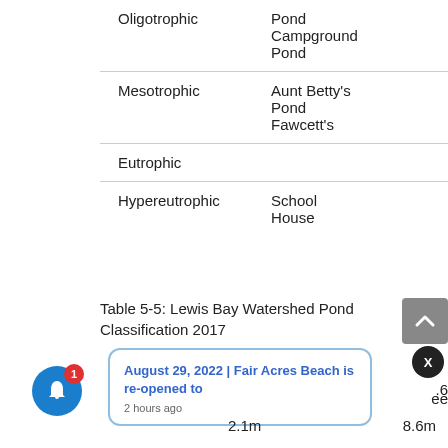| Classification | Ponds |
| --- | --- |
| Oligotrophic | Pond
Campground Pond |
| Mesotrophic | Aunt Betty's Pond
Fawcett's |
| Eutrophic |  |
| Hypereutrophic | School House |
Table 5-5: Lewis Bay Watershed Pond Classification 2017
[Figure (screenshot): UI overlay showing a scroll-up button (grey arrow), a close X button (black circle), a notification popup with text 'August 29, 2022 | Fair Acres Beach is re-opened to' and '2 hours ago', and a blue notification bell icon with red badge showing 1. Partial text showing '2.1m' and '8.6m' visible at the bottom.]